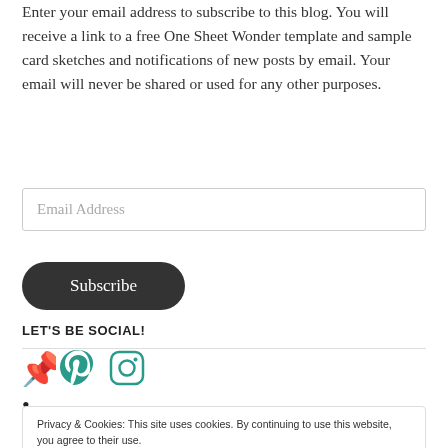Enter your email address to subscribe to this blog. You will receive a link to a free One Sheet Wonder template and sample card sketches and notifications of new posts by email. Your email will never be shared or used for any other purposes.
Email Address
Subscribe
LET'S BE SOCIAL!
[Figure (illustration): Pinterest and Instagram social media icons in teal color]
•
Privacy & Cookies: This site uses cookies. By continuing to use this website, you agree to their use. To find out more, including how to control cookies, see here: Cookie Policy
Close and accept